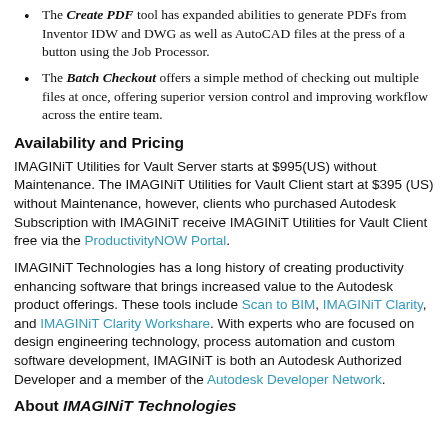The Create PDF tool has expanded abilities to generate PDFs from Inventor IDW and DWG as well as AutoCAD files at the press of a button using the Job Processor.
The Batch Checkout offers a simple method of checking out multiple files at once, offering superior version control and improving workflow across the entire team.
Availability and Pricing
IMAGINiT Utilities for Vault Server starts at $995(US) without Maintenance. The IMAGINiT Utilities for Vault Client start at $395 (US) without Maintenance, however, clients who purchased Autodesk Subscription with IMAGINiT receive IMAGINiT Utilities for Vault Client free via the ProductivityNOW Portal.
IMAGINiT Technologies has a long history of creating productivity enhancing software that brings increased value to the Autodesk product offerings. These tools include Scan to BIM, IMAGINiT Clarity, and IMAGINiT Clarity Workshare. With experts who are focused on design engineering technology, process automation and custom software development, IMAGINiT is both an Autodesk Authorized Developer and a member of the Autodesk Developer Network.
About IMAGINiT Technologies